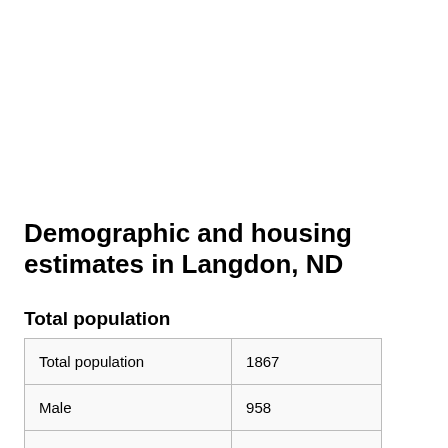Demographic and housing estimates in Langdon, ND
Total population
|  |  |
| --- | --- |
| Total population | 1867 |
| Male | 958 |
| Female | 909 |